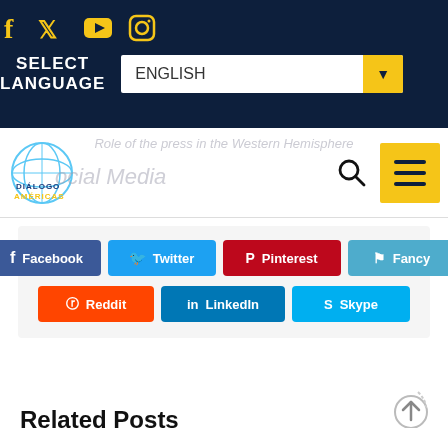Social media icons: Facebook, Twitter, YouTube, Instagram
SELECT LANGUAGE — ENGLISH dropdown
[Figure (logo): Diálogo Américas globe logo with blue/yellow text]
Role of the press in the Western Hemisphere — Social Media (ghost/watermark text)
Share buttons: Facebook, Twitter, Pinterest, Fancy, Reddit, LinkedIn, Skype
Related Posts